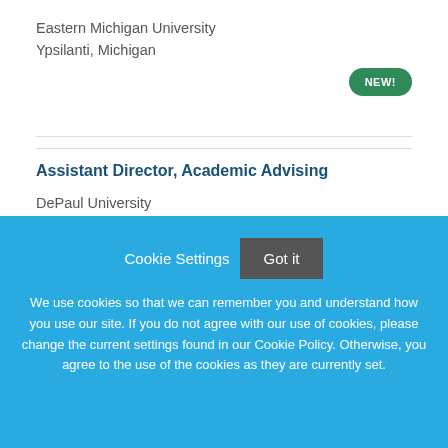Eastern Michigan University
Ypsilanti, Michigan
NEW!
Assistant Director, Academic Advising
DePaul University
Chicago, IL, USA
Cookie Settings   Got it
We use cookies so that we can remember you and understand how you use our site. If you do not agree with our use of cookies, please change the current settings found in our Cookie Policy. Otherwise, you agree to the use of the cookies as they are currently set.